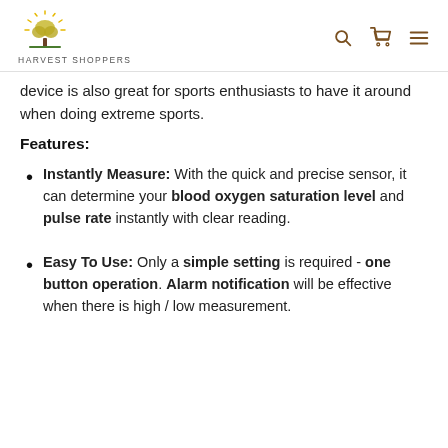HARVEST SHOPPERS
device is also great for sports enthusiasts to have it around when doing extreme sports.
Features:
Instantly Measure: With the quick and precise sensor, it can determine your blood oxygen saturation level and pulse rate instantly with clear reading.
Easy To Use: Only a simple setting is required - one button operation. Alarm notification will be effective when there is high / low measurement.